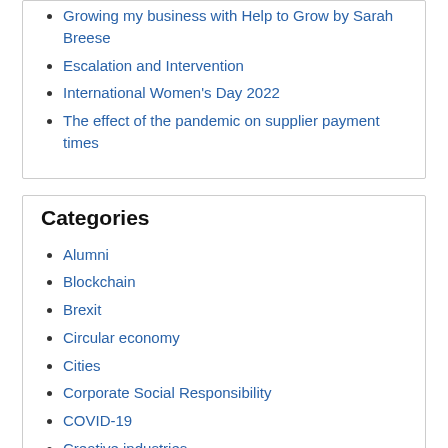Growing my business with Help to Grow by Sarah Breese
Escalation and Intervention
International Women's Day 2022
The effect of the pandemic on supplier payment times
Categories
Alumni
Blockchain
Brexit
Circular economy
Cities
Corporate Social Responsibility
COVID-19
Creative industries
Digital economy
Employment relations
Entrepreneurship